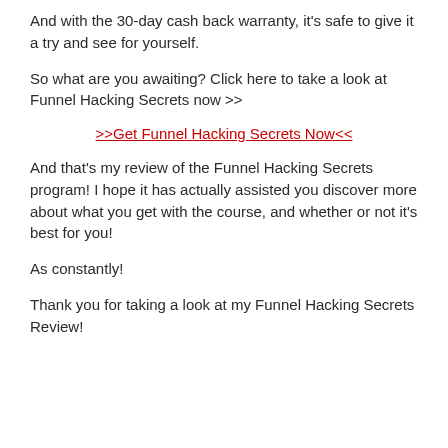And with the 30-day cash back warranty, it's safe to give it a try and see for yourself.
So what are you awaiting? Click here to take a look at Funnel Hacking Secrets now >>
>>Get Funnel Hacking Secrets Now<<
And that's my review of the Funnel Hacking Secrets program! I hope it has actually assisted you discover more about what you get with the course, and whether or not it's best for you!
As constantly!
Thank you for taking a look at my Funnel Hacking Secrets Review!